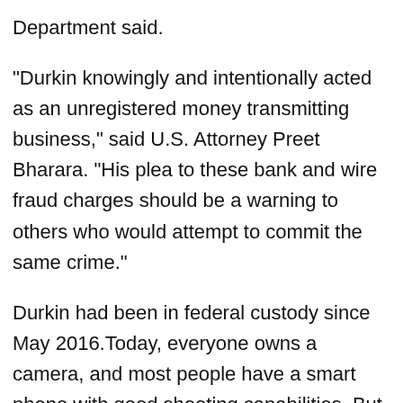Department said.
“Durkin knowingly and intentionally acted as an unregistered money transmitting business,” said U.S. Attorney Preet Bharara. “His plea to these bank and wire fraud charges should be a warning to others who would attempt to commit the same crime.”
Durkin had been in federal custody since May 2016.Today, everyone owns a camera, and most people have a smart phone with good shooting capabilities. But, the camera industry is still evolving, and new cameras with better features are being released on a regular basis. We have done our best to provide the most up-to-date camera review information, f30f4ceada